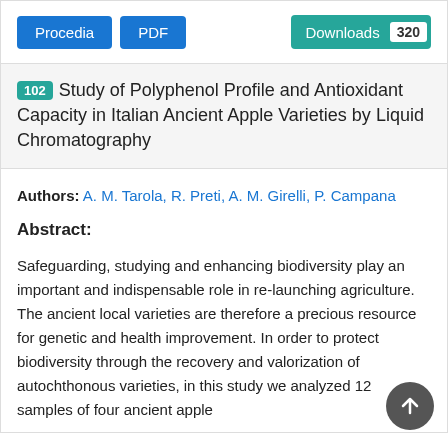Procedia | PDF | Downloads 320
102 Study of Polyphenol Profile and Antioxidant Capacity in Italian Ancient Apple Varieties by Liquid Chromatography
Authors: A. M. Tarola, R. Preti, A. M. Girelli, P. Campana
Abstract:
Safeguarding, studying and enhancing biodiversity play an important and indispensable role in re-launching agriculture. The ancient local varieties are therefore a precious resource for genetic and health improvement. In order to protect biodiversity through the recovery and valorization of autochthonous varieties, in this study we analyzed 12 samples of four ancient apple